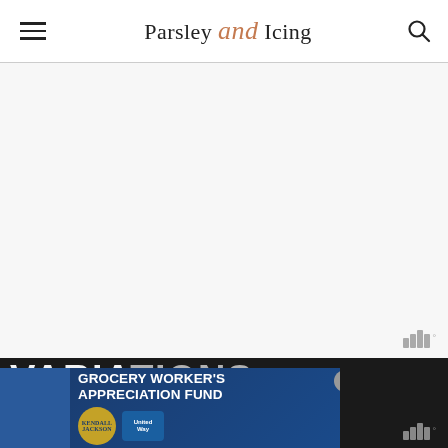Parsley and Icing
[Figure (screenshot): Large empty/light gray content area placeholder for page main image or article content]
[Figure (logo): Mediavine (ww degree symbol) badge in bottom right of content area]
VARIATIONS
[Figure (photo): Advertisement banner: GROCERY WORKER'S APPRECIATION FUND with Kendall-Jackson and United Way logos; close button visible; person in apron on left side]